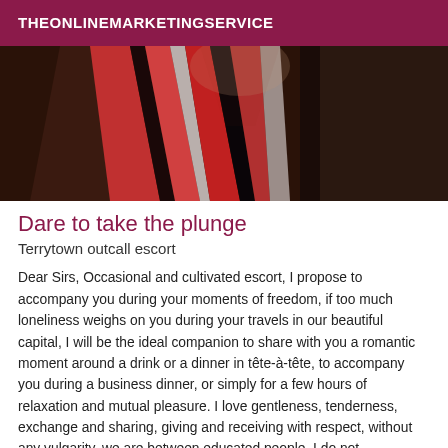THEONLINEMARKETINGSERVICE
[Figure (photo): Partial photo of a person wearing a striped red, black and white top with dark hair visible]
Dare to take the plunge
Terrytown outcall escort
Dear Sirs, Occasional and cultivated escort, I propose to accompany you during your moments of freedom, if too much loneliness weighs on you during your travels in our beautiful capital, I will be the ideal companion to share with you a romantic moment around a drink or a dinner in tête-à-tête, to accompany you during a business dinner, or simply for a few hours of relaxation and mutual pleasure. I love gentleness, tenderness, exchange and sharing, giving and receiving with respect, without any vulgarity, we are between educated people. I do not